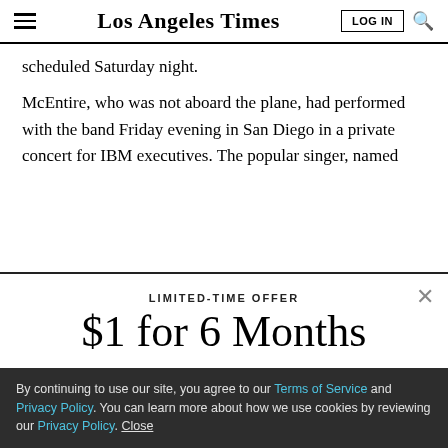Los Angeles Times
scheduled Saturday night.
McEntire, who was not aboard the plane, had performed with the band Friday evening in San Diego in a private concert for IBM executives. The popular singer, named
LIMITED-TIME OFFER
$1 for 6 Months
SUBSCRIBE NOW
By continuing to use our site, you agree to our Terms of Service and Privacy Policy. You can learn more about how we use cookies by reviewing our Privacy Policy. Close